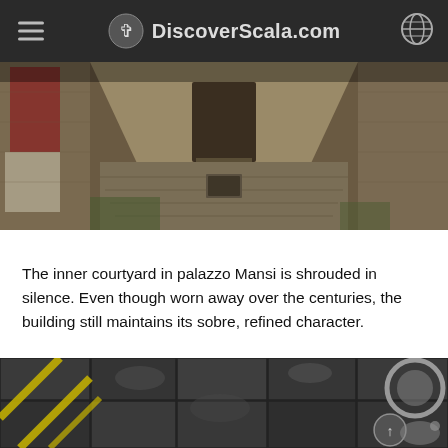DiscoverScala.com
[Figure (photo): Inner courtyard of Palazzo Mansi: a stone-paved alley flanked by aged stone walls with a doorway visible at the far end; a red cloth and laundry hang on the left side.]
The inner courtyard in palazzo Mansi is shrouded in silence. Even though worn away over the centuries, the building still maintains its sobre, refined character.
[Figure (photo): Close-up top-down view of dark stone cobblestones with yellow markings; a round stone basin or millstone element visible at the right edge.]